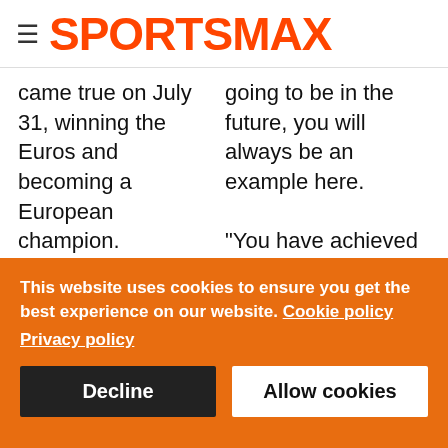SPORTSMAX
came true on July 31, winning the Euros and becoming a European champion.

"Finally, let's use the momentum from the Euro's
going to be in the future, you will always be an example here.

"You have achieved so much. You are leaving the club as a Real Madrid legend.
This website uses cookies to ensure you get the best experience on our website. Cookie policy
Privacy policy

Decline    Allow cookies